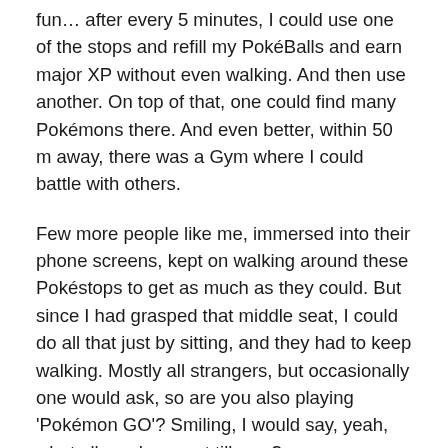fun… after every 5 minutes, I could use one of the stops and refill my PokéBalls and earn major XP without even walking. And then use another. On top of that, one could find many Pokémons there. And even better, within 50 m away, there was a Gym where I could battle with others.
Few more people like me, immersed into their phone screens, kept on walking around these Pokéstops to get as much as they could. But since I had grasped that middle seat, I could do all that just by sitting, and they had to keep walking. Mostly all strangers, but occasionally one would ask, so are you also playing 'Pokémon GO'? Smiling, I would say, yeah, what all you have got till now?
This time, last year, in 2016, the middle part of July was really different. It was like a temporary cultural revolution of sorts. Whoever got to know about this game, downloaded apk files (where it wasn't available yet) and jumped on to the roads and started playing. I had